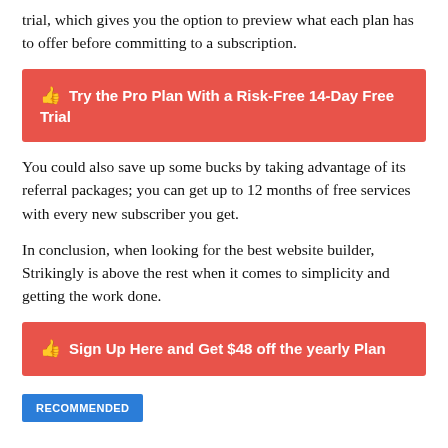trial, which gives you the option to preview what each plan has to offer before committing to a subscription.
[Figure (other): Red call-to-action button: thumbs-up icon followed by 'Try the Pro Plan With a Risk-Free 14-Day Free Trial']
You could also save up some bucks by taking advantage of its referral packages; you can get up to 12 months of free services with every new subscriber you get.
In conclusion, when looking for the best website builder, Strikingly is above the rest when it comes to simplicity and getting the work done.
[Figure (other): Red call-to-action button: thumbs-up icon followed by 'Sign Up Here and Get $48 off the yearly Plan']
RECOMMENDED